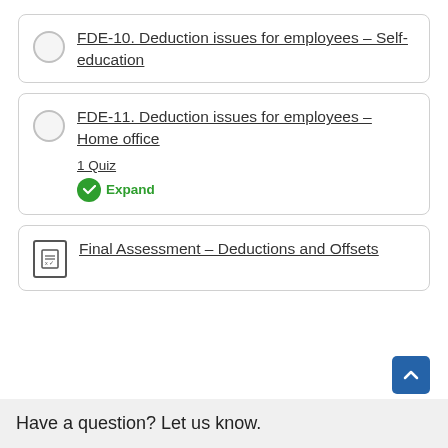FDE-10. Deduction issues for employees – Self-education
FDE-11. Deduction issues for employees – Home office
1 Quiz
Expand
Final Assessment – Deductions and Offsets
Have a question? Let us know.